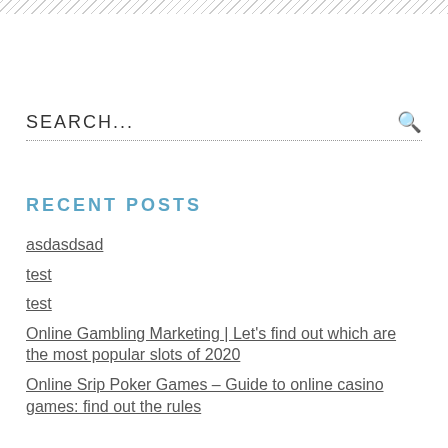[Figure (other): Diagonal hatching stripe across the top of the page]
SEARCH...
RECENT POSTS
asdasdsad
test
test
Online Gambling Marketing | Let's find out which are the most popular slots of 2020
Online Srip Poker Games – Guide to online casino games: find out the rules